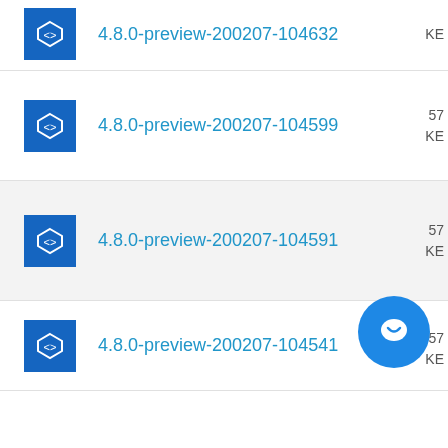4.8.0-preview-200207-104632
4.8.0-preview-200207-104599
4.8.0-preview-200207-104591
4.8.0-preview-200207-104541